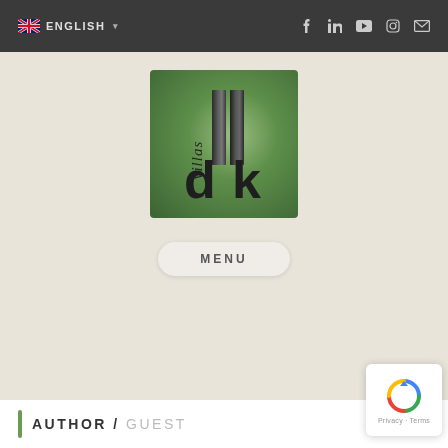ENGLISH (flag icon, dropdown) | social icons: Facebook, LinkedIn, YouTube, Instagram, Email
[Figure (logo): DK Villas logo on green radial gradient background: vertical rectangular bars with 'villas' text vertical, large 'dk' letters below]
MENU
AUTHOR / GUEST
[Figure (other): Google reCAPTCHA badge with spinning arrows icon and 'Privacy - Terms' text]